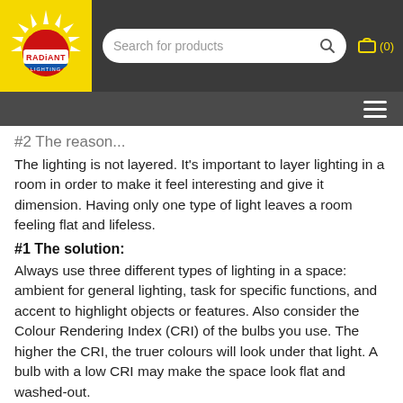[Figure (logo): Radiant Lighting logo on yellow background with navigation bar containing search field and cart icon]
#2 The reason...
The lighting is not layered. It's important to layer lighting in a room in order to make it feel interesting and give it dimension. Having only one type of light leaves a room feeling flat and lifeless.
#1 The solution:
Always use three different types of lighting in a space: ambient for general lighting, task for specific functions, and accent to highlight objects or features. Also consider the Colour Rendering Index (CRI) of the bulbs you use. The higher the CRI, the truer colours will look under that light. A bulb with a low CRI may make the space look flat and washed-out.
#2 The problem:
The bathroom vanity lighting is unflattering. When you